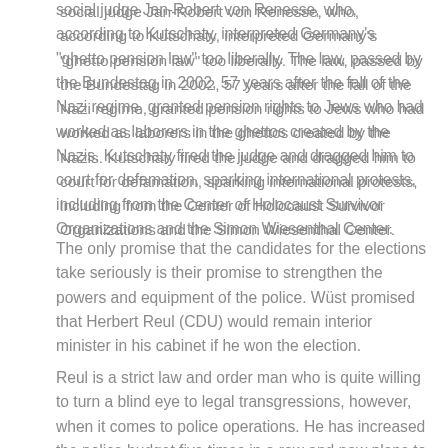social judge Jan-Robert von Renesse, who, according to Kutschaty, interpreted Germany's "ghetto pension law" too liberally. The law, passed by the Bundestag in 2002, 57 years after the fall of the Nazi regime, granted pension rights to Jews who had worked as laborers in the ghettos created by the Nazis. Kutschaty fired the judge and dragged him to court for defamation, sparking international protests, including from the Center of Holocaust Survivor Organizations and the Simon Wiesenthal Center.
The only promise that the candidates for the elections take seriously is their promise to strengthen the powers and equipment of the police. Wüst promised that Herbert Reul (CDU) would remain interior minister in his cabinet if he won the election.
Reul is a strict law and order man who is quite willing to turn a blind eye to legal transgressions, however, when it comes to police operations. He has increased the police budget five times in a row and now plans to hire 3,000 new officers a year. Ruel is responsible for a draconian police law that has led to tens of thousands of people